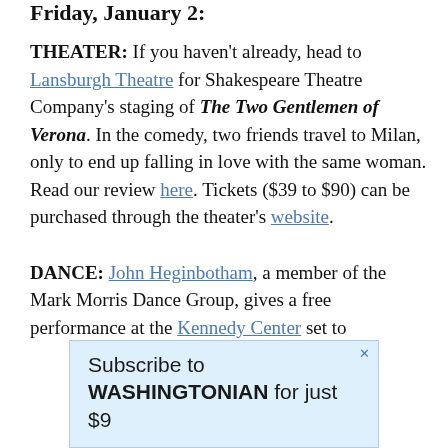Friday, January 2:
THEATER: If you haven't already, head to Lansburgh Theatre for Shakespeare Theatre Company's staging of The Two Gentlemen of Verona. In the comedy, two friends travel to Milan, only to end up falling in love with the same woman. Read our review here. Tickets ($39 to $90) can be purchased through the theater's website.
DANCE: John Heginbotham, a member of the Mark Morris Dance Group, gives a free performance at the Kennedy Center set to
Subscribe to WASHINGTONIAN for just $9